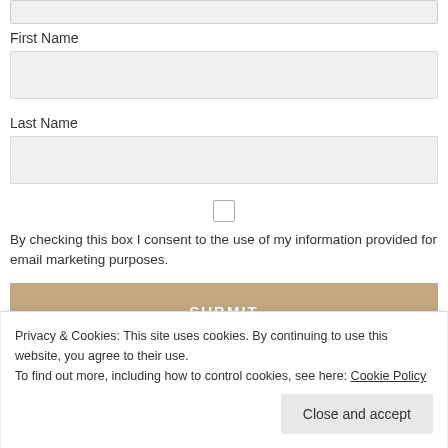First Name
Last Name
By checking this box I consent to the use of my information provided for email marketing purposes.
SUBMIT
Bloglovin
Privacy & Cookies: This site uses cookies. By continuing to use this website, you agree to their use.
To find out more, including how to control cookies, see here: Cookie Policy
Close and accept